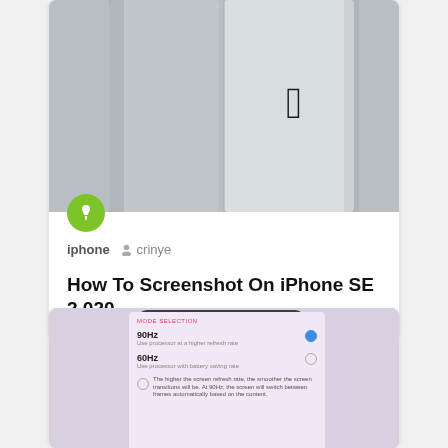[Figure (photo): iPhone SE 2020 back panel showing Apple logo, silver color]
iphone  crinye
How To Screenshot On iPhone SE 2020
[Figure (photo): Hand holding a smartphone showing a screen refresh rate selection menu with 90Hz and 60Hz options]